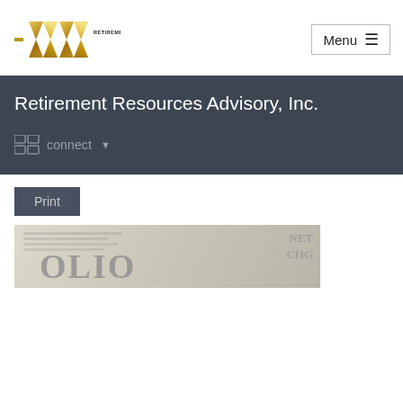[Figure (logo): Retirement Resources Advisory, Inc. logo with gold RR shield mark and company name text]
[Figure (other): Menu button with hamburger icon]
Retirement Resources Advisory, Inc.
[Figure (other): Connect dropdown button with grid icon]
[Figure (other): Print button]
[Figure (photo): Close-up photograph of newspaper with partial text visible: OLIO, NET, CHG]